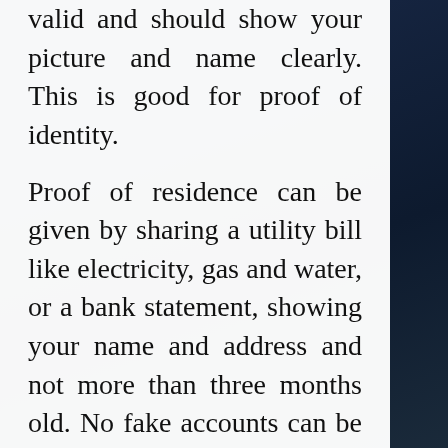valid and should show your picture and name clearly. This is good for proof of identity.
Proof of residence can be given by sharing a utility bill like electricity, gas and water, or a bank statement, showing your name and address and not more than three months old. No fake accounts can be created on FinuTrade due to these requirements. Plus, this effectively reduces the chance of identity theft, financial fraud and money laundering.